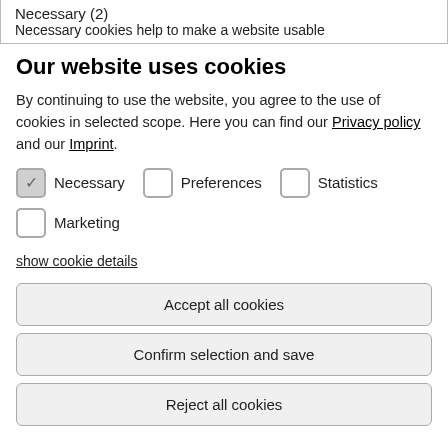Necessary (2)
Necessary cookies help to make a website usable
Our website uses cookies
By continuing to use the website, you agree to the use of cookies in selected scope. Here you can find our Privacy policy and our Imprint.
Necessary (checked), Preferences (unchecked), Statistics (unchecked)
Marketing (unchecked)
show cookie details
Accept all cookies
Confirm selection and save
Reject all cookies